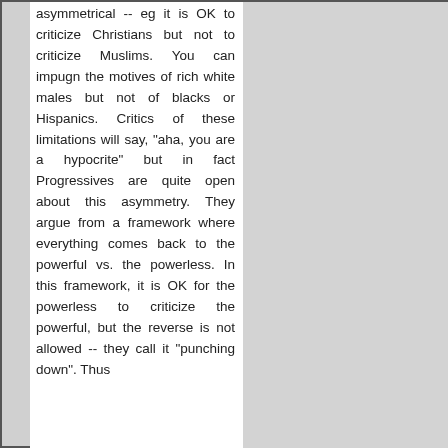asymmetrical -- eg it is OK to criticize Christians but not to criticize Muslims. You can impugn the motives of rich white males but not of blacks or Hispanics. Critics of these limitations will say, "aha, you are a hypocrite" but in fact Progressives are quite open about this asymmetry. They argue from a framework where everything comes back to the powerful vs. the powerless. In this framework, it is OK for the powerless to criticize the powerful, but the reverse is not allowed -- they call it "punching down". Thus